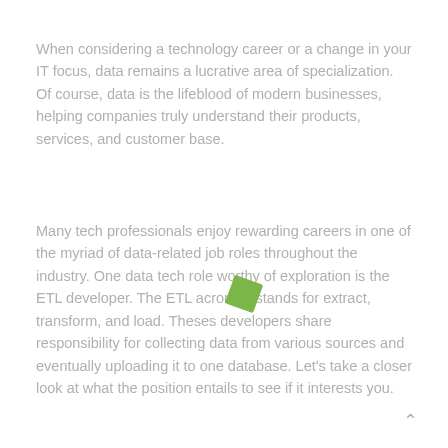When considering a technology career or a change in your IT focus, data remains a lucrative area of specialization. Of course, data is the lifeblood of modern businesses, helping companies truly understand their products, services, and customer base.
Many tech professionals enjoy rewarding careers in one of the myriad of data-related job roles throughout the industry. One data tech role worthy of exploration is the ETL developer. The ETL acronym stands for extract, transform, and load. Theses developers share responsibility for collecting data from various sources and eventually uploading it to one database. Let's take a closer look at what the position entails to see if it interests you.
[Figure (illustration): A small green rotated square/diamond shape overlaid on the text]